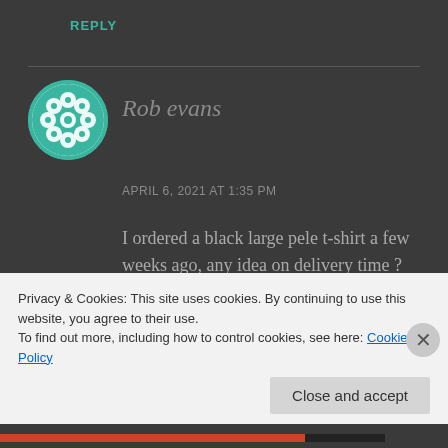REPLY
[Figure (illustration): Circular avatar with teal and white geometric pattern (interconnected circles/dots design)]
Rob evans
APRIL 6, 2021 AT 1:35 PM
I ordered a black large pele t-shirt a few weeks ago, any idea on delivery time ? Thanks in advance
Privacy & Cookies: This site uses cookies. By continuing to use this website, you agree to their use.
To find out more, including how to control cookies, see here: Cookie Policy
Close and accept